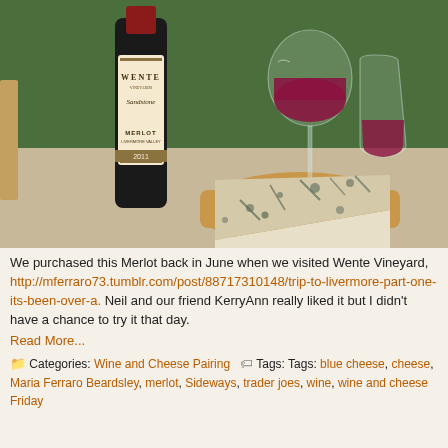[Figure (photo): Photo of a Wente Vineyards Sandstone Merlot 2011 wine bottle on the left, a tall wine glass filled with red wine in the center-back, a stemless glass with red wine on the right-back, and a wedge of blue cheese on a wooden board in the foreground. Background is a dark green wall.]
We purchased this Merlot back in June when we visited Wente Vineyard, http://mferraro73.tumblr.com/post/88717310148/trip-to-livermore-part-one-its-been-over-a. Neil and our friend KerryAnn really liked it but I didn't have a chance to try it that day.
Read More...
Categories: Wine and Cheese Pairing  Tags: Tags: blue cheese, cheese, Maria Ferraro Beardsley, merlot, Sideways, trader joes, wine, wine and cheese Friday